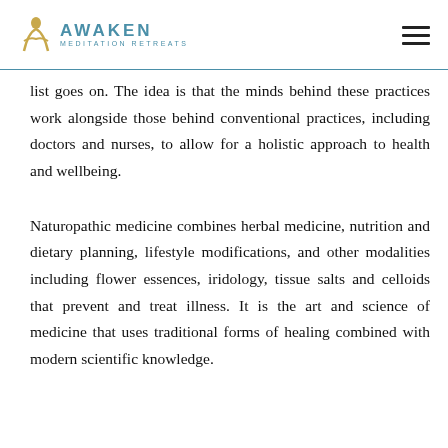AWAKEN MEDITATION RETREATS
list goes on. The idea is that the minds behind these practices work alongside those behind conventional practices, including doctors and nurses, to allow for a holistic approach to health and wellbeing.
Naturopathic medicine combines herbal medicine, nutrition and dietary planning, lifestyle modifications, and other modalities including flower essences, iridology, tissue salts and celloids that prevent and treat illness. It is the art and science of medicine that uses traditional forms of healing combined with modern scientific knowledge.